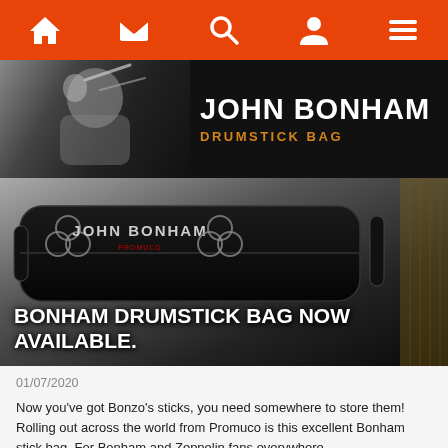Navigation bar with home, mail, search, user, and menu icons
[Figure (photo): Banner image showing John Bonham at drums (black and white) on the left, with 'JOHN BONHAM' text in large white font and 'DRUMSTICK BAG' in orange text on black background to the right]
[Figure (photo): Black drumstick bag with John Bonham logo (Led Zeppelin symbols) and Promuco branding, with text overlay 'BONHAM DRUMSTICK BAG NOW AVAILABLE.']
01/07/2020
Now you've got Bonzo's sticks, you need somewhere to store them! Rolling out across the world from Promuco is this excellent Bonham stick bag. For Bonham and Zeppelin fans everywhere.
CONTINUE READING >